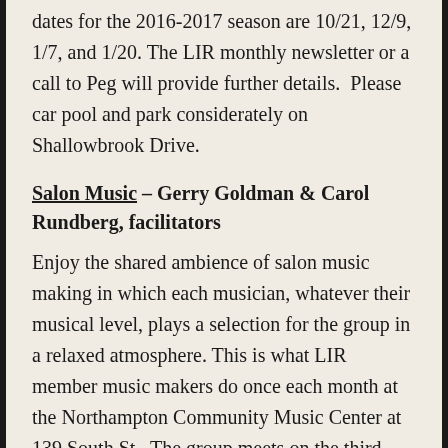dates for the 2016-2017 season are 10/21, 12/9, 1/7, and 1/20. The LIR monthly newsletter or a call to Peg will provide further details.  Please car pool and park considerately on Shallowbrook Drive.
Salon Music – Gerry Goldman & Carol Rundberg, facilitators
Enjoy the shared ambience of salon music making in which each musician, whatever their musical level, plays a selection for the group in a relaxed atmosphere. This is what LIR member music makers do once each month at the Northampton Community Music Center at 139 South St.  The group meets on the third Friday of each month at 10:30 AM.   Music makers are amateurs (lovers of music) who have in some cases returned to an